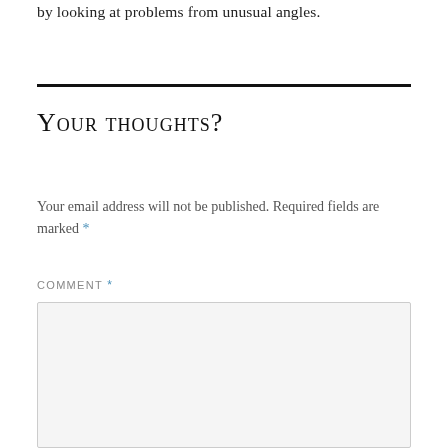by looking at problems from unusual angles.
Your thoughts?
Your email address will not be published. Required fields are marked *
COMMENT *
[Figure (other): Empty comment text area input box with light gray background]